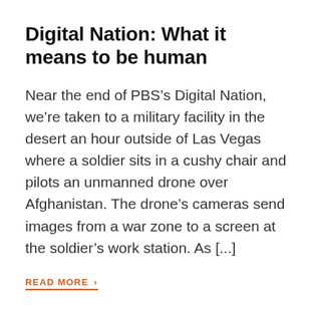Digital Nation: What it means to be human
Near the end of PBS’s Digital Nation, we’re taken to a military facility in the desert an hour outside of Las Vegas where a soldier sits in a cushy chair and pilots an unmanned drone over Afghanistan. The drone’s cameras send images from a war zone to a screen at the soldier’s work station. As [...]
READ MORE ›